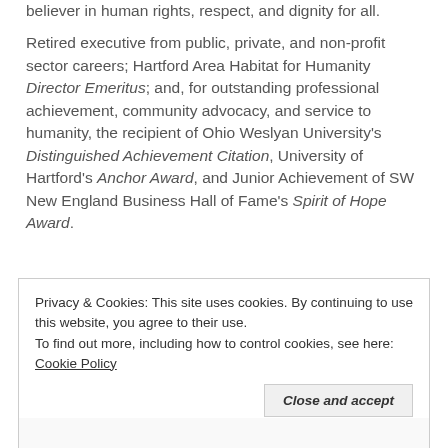believer in human rights, respect, and dignity for all.
Retired executive from public, private, and non-profit sector careers; Hartford Area Habitat for Humanity Director Emeritus; and, for outstanding professional achievement, community advocacy, and service to humanity, the recipient of Ohio Weslyan University's Distinguished Achievement Citation, University of Hartford's Anchor Award, and Junior Achievement of SW New England Business Hall of Fame's Spirit of Hope Award.
Privacy & Cookies: This site uses cookies. By continuing to use this website, you agree to their use.
To find out more, including how to control cookies, see here: Cookie Policy
Close and accept